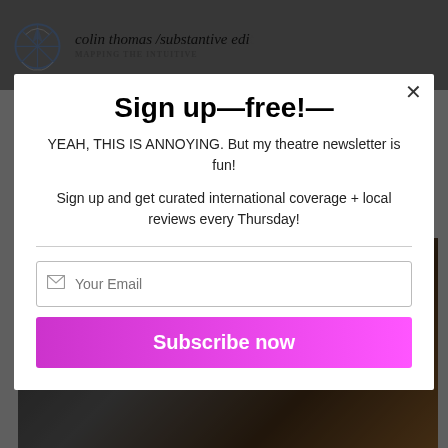[Figure (screenshot): Website header for 'colin thomas /substantive editing' with compass logo and tagline 'MAPPING THE INTUITIVE'. Background is dimmed/overlaid.]
Sign up—free!—
YEAH, THIS IS ANNOYING. But my theatre newsletter is fun!
Sign up and get curated international coverage + local reviews every Thursday!
Your Email
Subscribe now